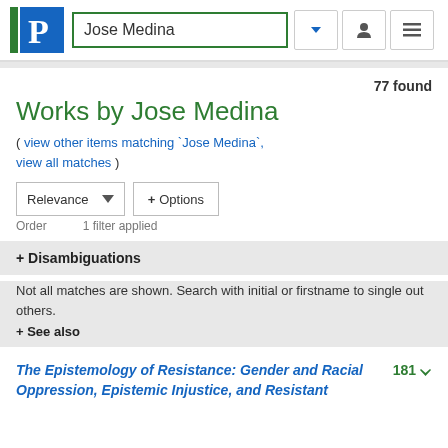Jose Medina
77 found
Works by Jose Medina
( view other items matching `Jose Medina`, view all matches )
Relevance ▾ + Options
Order   1 filter applied
+ Disambiguations
Not all matches are shown. Search with initial or firstname to single out others.
+ See also
The Epistemology of Resistance: Gender and Racial Oppression, Epistemic Injustice, and Resistant    181 ⬇